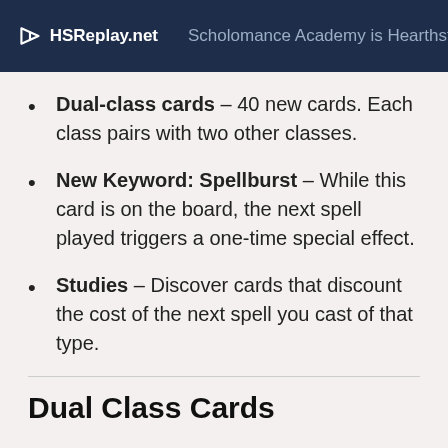HSReplay.net — Scholomance Academy is Hearthsto
Dual-class cards – 40 new cards. Each class pairs with two other classes.
New Keyword: Spellburst – While this card is on the board, the next spell played triggers a one-time special effect.
Studies – Discover cards that discount the cost of the next spell you cast of that type.
Dual Class Cards